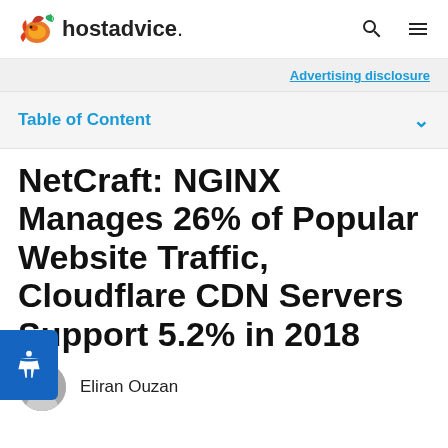hostadvice.
Advertising disclosure
Table of Content
NetCraft: NGINX Manages 26% of Popular Website Traffic, Cloudflare CDN Servers Support 5.2% in 2018
Eliran Ouzan